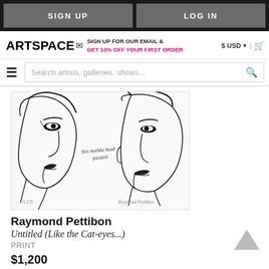SIGN UP | LOG IN
ARTSPACE — SIGN UP FOR OUR EMAIL & GET 10% OFF YOUR FIRST ORDER — $ USD | cart
Search artists, galleries, shows...
[Figure (illustration): Black and white pen drawing of two faces in profile (side view), facing each other. Left face is a woman, right face is a man. Handwritten text in the middle reads 'this marble head painted'. Signed 'A.T.P.' in lower left and 'Raymond Pettibon' in lower right in pencil.]
Raymond Pettibon
Untitled (Like the Cat-eyes...)
PRINT
$1,200